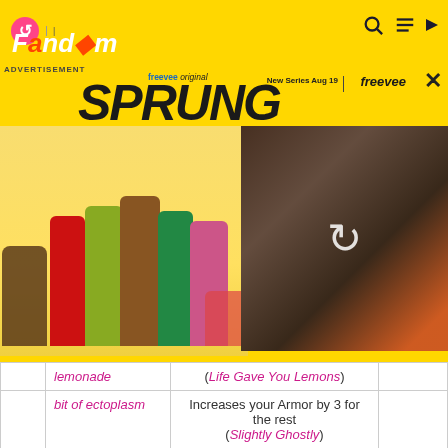Fandom
[Figure (screenshot): Advertisement banner for Freevee original series 'SPRUNG' showing cast members on yellow background with video thumbnail and close button]
|  | Item | Effect |  |
| --- | --- | --- | --- |
|  | lemonade | (Life Gave You Lemons) |  |
|  | bit of ectoplasm | Increases your Armor by 3 for the rest (Slightly Ghostly) |  |